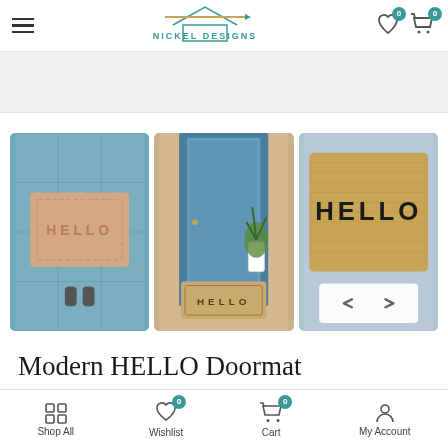Nickel Designs — Navigation header with hamburger menu, logo, wishlist and cart icons
[Figure (photo): Three product photos of 'Modern HELLO Doormat': overhead view of mat with HELLO text on tiled floor with person's feet, doorway photo with HELLO mat in front of blue door with plant, close-up of HELLO doormat on blue background with navigation arrows]
Modern HELLO Doormat
$42.99
Shop All | Wishlist (0) | Cart (0) | My Account